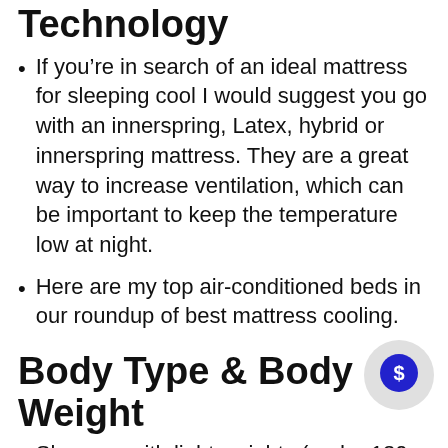Technology
If you’re in search of an ideal mattress for sleeping cool I would suggest you go with an innerspring, Latex, hybrid or innerspring mattress. They are a great way to increase ventilation, which can be important to keep the temperature low at night.
Here are my top air-conditioned beds in our roundup of best mattress cooling.
Body Type & Body Weight
Sleepers with light weights (under 130 lb) typically discover mattresses that